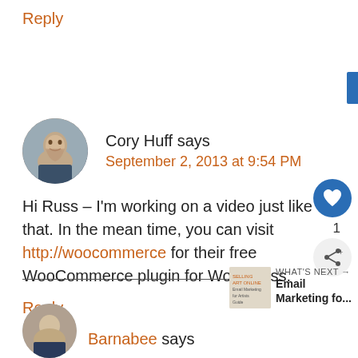Reply
[Figure (photo): Circular avatar photo of Cory Huff, a man with a beard]
Cory Huff says
September 2, 2013 at 9:54 PM
Hi Russ – I'm working on a video just like that. In the mean time, you can visit http://woocommerce for their free WooCommerce plugin for WordPress.
Reply
WHAT'S NEXT → Email Marketing fo...
Barnabee says